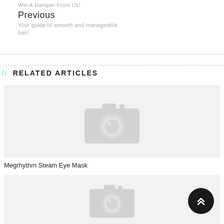Win A Hamper From Us!
Previous
Your guide to smooth and manageable hair!
// RELATED ARTICLES
[Figure (photo): Placeholder camera icon image for article thumbnail]
Megrhythm Steam Eye Mask
[Figure (photo): Placeholder camera icon image for article thumbnail]